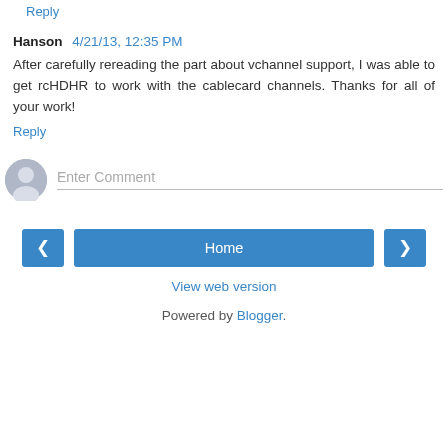Reply
Hanson  4/21/13, 12:35 PM
After carefully rereading the part about vchannel support, I was able to get rcHDHR to work with the cablecard channels. Thanks for all of your work!
Reply
[Figure (other): Avatar placeholder icon — grey circle with person silhouette]
Enter Comment
Home
View web version
Powered by Blogger.